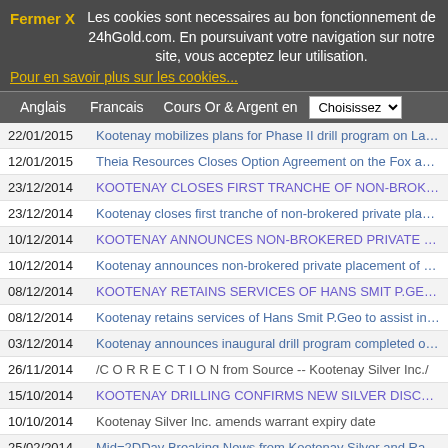Fermer X  Les cookies sont necessaires au bon fonctionnement de 24hGold.com. En poursuivant votre navigation sur notre site, vous acceptez leur utilisation.
Pour en savoir plus sur les cookies...
Anglais | Francais | Cours Or & Argent en | Choisissez
22/01/2015  Kootenay mobilizes plans for Phase II drill program on La Ne...
12/01/2015  Theia Resources Closes Option Agreement on the Fox and 2 X F...
23/12/2014  KOOTENAY CLOSES FIRST TRANCHE OF NON-BROKERED PRIVATE P
23/12/2014  Kootenay closes first tranche of non-brokered private placem...
10/12/2014  KOOTENAY ANNOUNCES NON-BROKERED PRIVATE PLACEMENT OF U
10/12/2014  Kootenay announces non-brokered private placement of up to $...
08/12/2014  KOOTENAY RETAINS SERVICES OF HANS SMIT P.GEO TO ASSIST IN D
08/12/2014  Kootenay retains services of Hans Smit P.Geo to assist in de...
03/12/2014  Kootenay announces inaugural drill program completed on La N...
26/11/2014  /C O R R E C T I O N from Source -- Kootenay Silver Inc./
15/10/2014  KOOTENAY DRILLING CONFIRMS NEW SILVER DISCOVERY ON PROM
10/10/2014  Kootenay Silver Inc. amends warrant expiry date
25/02/2014  Mid=2DDay Breaking News from Kootenay Silver and Rango Energ...
25/02/2014  Kootenay Provides Exploration Update Of Promontorio Satellit...
05/02/2014  Kootenay Silver points to the success of the 2013 drill prog...
05/02/2014  Kootenay Silver Points To The Success Of The 2013 Drill Prog